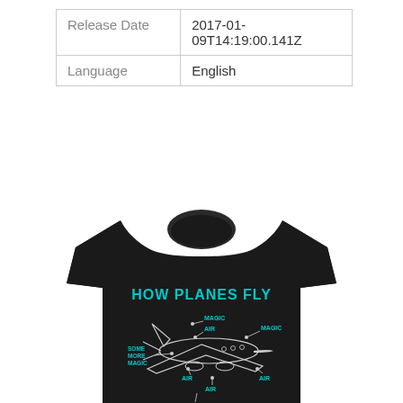|  |  |
| --- | --- |
| Release Date | 2017-01-09T14:19:00.141Z |
| Language | English |
[Figure (photo): A black t-shirt with a humorous aviation diagram printed in cyan/teal ink. The shirt reads 'HOW PLANES FLY' at the top, with a sketch of an airplane labeled with arrows pointing to various parts, all labeled 'AIR', 'MAGIC', 'SOME MORE MAGIC', 'VERY IMPORTANT MAGIC', and other joke labels in teal text.]